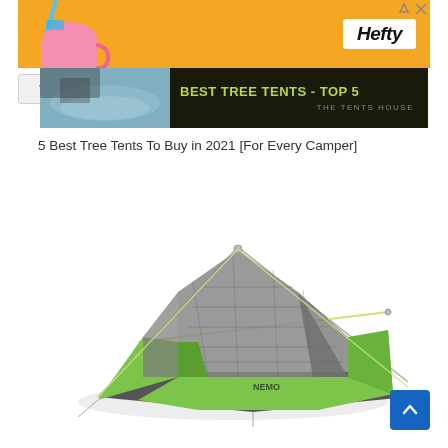[Figure (photo): Hefty brand advertisement banner with orange background, pink/blue cup image on left and Hefty logo on right]
[Figure (photo): Best Tree Tents Top 5 banner with forest/water background image on left and green text on dark background on right, reading BEST TREE TENTS - TOP 5 / THE TENTS HOUSE]
5 Best Tree Tents To Buy in 2021 [For Every Camper]
[Figure (photo): Green and gray camping tent (NEMO brand) shown on white background, a low-profile two-person tent with green lower panels and gray mesh upper section]